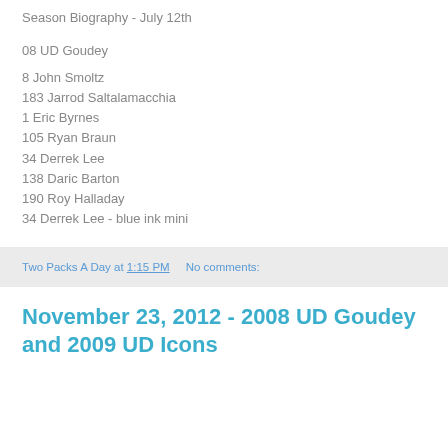Season Biography - July 12th
08 UD Goudey
8 John Smoltz
183 Jarrod Saltalamacchia
1 Eric Byrnes
105 Ryan Braun
34 Derrek Lee
138 Daric Barton
190 Roy Halladay
34 Derrek Lee - blue ink mini
Two Packs A Day at 1:15 PM   No comments:
November 23, 2012 - 2008 UD Goudey and 2009 UD Icons